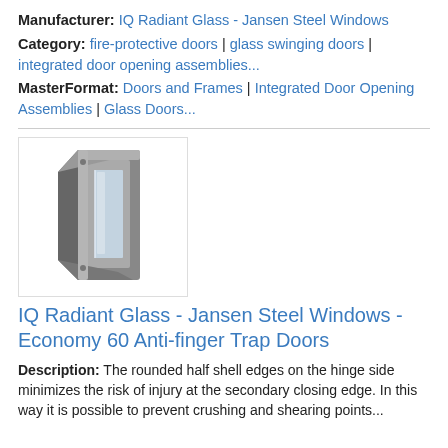Manufacturer: IQ Radiant Glass - Jansen Steel Windows
Category: fire-protective doors | glass swinging doors | integrated door opening assemblies...
MasterFormat: Doors and Frames | Integrated Door Opening Assemblies | Glass Doors...
[Figure (photo): Cross-section photo of a steel door frame/window profile showing glass panel and metal frame construction]
IQ Radiant Glass - Jansen Steel Windows - Economy 60 Anti-finger Trap Doors
Description: The rounded half shell edges on the hinge side minimizes the risk of injury at the secondary closing edge. In this way it is possible to prevent crushing and shearing points...